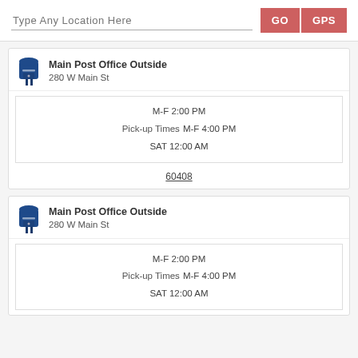Type Any Location Here
GO
GPS
Main Post Office Outside
280 W Main St
M-F 2:00 PM
Pick-up Times M-F 4:00 PM
SAT 12:00 AM
60408
Main Post Office Outside
280 W Main St
M-F 2:00 PM
Pick-up Times M-F 4:00 PM
SAT 12:00 AM